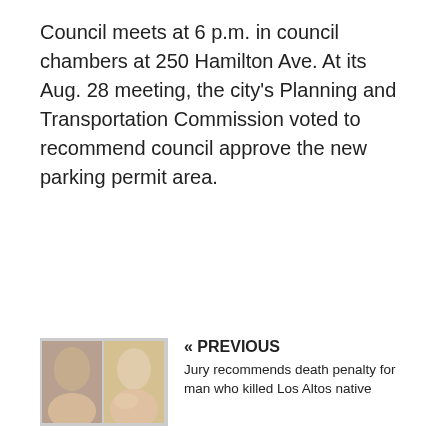Council meets at 6 p.m. in council chambers at 250 Hamilton Ave. At its Aug. 28 meeting, the city's Planning and Transportation Commission voted to recommend council approve the new parking permit area.
[Figure (photo): Two headshot photos of a man and a woman side by side]
« PREVIOUS
Jury recommends death penalty for man who killed Los Altos native
NEXT »
City settles with piano teacher over injuries
[Figure (photo): Hands playing piano keys]
RELATED ARTICLES
[Figure (photo): Headshot of a man]
Opinion: The odd case of Greg Tanak donations